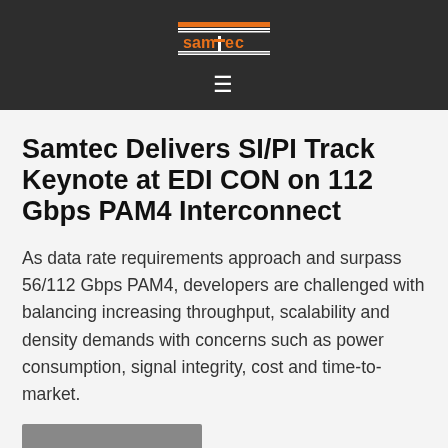[Figure (logo): Samtec logo in orange and white on dark grey background header bar]
Samtec Delivers SI/PI Track Keynote at EDI CON on 112 Gbps PAM4 Interconnect
As data rate requirements approach and surpass 56/112 Gbps PAM4, developers are challenged with balancing increasing throughput, scalability and density demands with concerns such as power consumption, signal integrity, cost and time-to-market.
[Figure (photo): Partially visible image at the bottom of the page (cropped)]